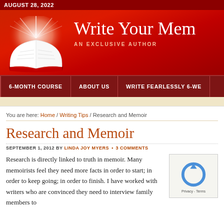AUGUST 28, 2022
[Figure (screenshot): Write Your Memoir website banner with glowing open book illustration on red background and text 'Write Your Mem...' and 'AN EXCLUSIVE AUTHOR']
6-MONTH COURSE | ABOUT US | WRITE FEARLESSLY 6-WE...
You are here: Home / Writing Tips / Research and Memoir
Research and Memoir
SEPTEMBER 1, 2012 BY LINDA JOY MYERS • 3 COMMENTS
Research is directly linked to truth in memoir. Many memoirists feel they need more facts in order to start; in order to keep going; in order to finish. I have worked with writers who are convinced they need to interview family members to...